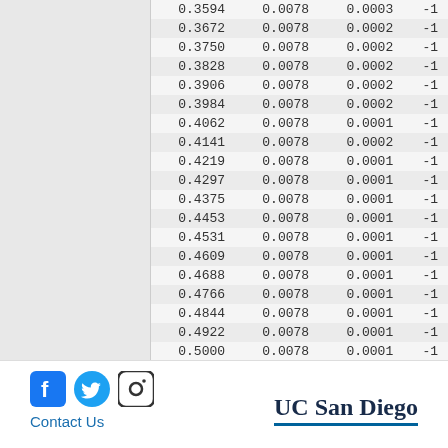| col1 | col2 | col3 | col4 |
| --- | --- | --- | --- |
| 0.3594 | 0.0078 | 0.0003 | -1 |
| 0.3672 | 0.0078 | 0.0002 | -1 |
| 0.3750 | 0.0078 | 0.0002 | -1 |
| 0.3828 | 0.0078 | 0.0002 | -1 |
| 0.3906 | 0.0078 | 0.0002 | -1 |
| 0.3984 | 0.0078 | 0.0002 | -1 |
| 0.4062 | 0.0078 | 0.0001 | -1 |
| 0.4141 | 0.0078 | 0.0002 | -1 |
| 0.4219 | 0.0078 | 0.0001 | -1 |
| 0.4297 | 0.0078 | 0.0001 | -1 |
| 0.4375 | 0.0078 | 0.0001 | -1 |
| 0.4453 | 0.0078 | 0.0001 | -1 |
| 0.4531 | 0.0078 | 0.0001 | -1 |
| 0.4609 | 0.0078 | 0.0001 | -1 |
| 0.4688 | 0.0078 | 0.0001 | -1 |
| 0.4766 | 0.0078 | 0.0001 | -1 |
| 0.4844 | 0.0078 | 0.0001 | -1 |
| 0.4922 | 0.0078 | 0.0001 | -1 |
| 0.5000 | 0.0078 | 0.0001 | -1 |
Social icons | Contact Us | UC San Diego